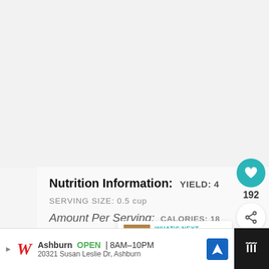Nutrition Information: YIELD: 4
SERVING SIZE: 0.5 cup
Amount Per Serving:  CALORIES: 18
TOTAL FAT: 12g  SATURATED FAT: 1.6g
TRANS FAT: 0  UNSATURATED FAT: 0.0
[Figure (screenshot): What's Next popup with Olive Chickpea thumbnail and teal arrow label]
[Figure (screenshot): Walgreens advertisement banner: Ashburn OPEN 8AM-10PM, 20321 Susan Leslie Dr, Ashburn]